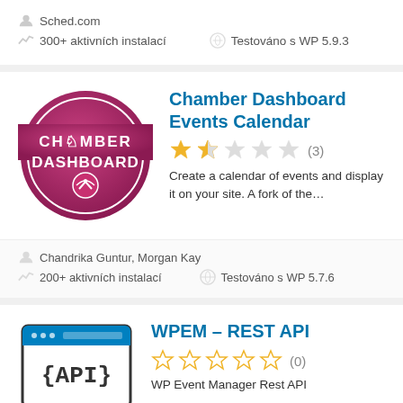Sched.com
300+ aktivních instalací    Testováno s WP 5.9.3
Chamber Dashboard Events Calendar
★★☆☆☆ (3)
Create a calendar of events and display it on your site. A fork of the...
Chandrika Guntur, Morgan Kay
200+ aktivních instalací    Testováno s WP 5.7.6
WPEM – REST API
☆☆☆☆☆ (0)
WP Event Manager Rest API